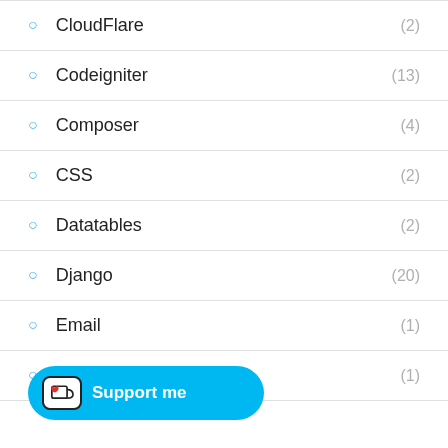CloudFlare (2)
Codeigniter (13)
Composer (4)
CSS (2)
Datatables (2)
Django (20)
Email (1)
FTP (1)